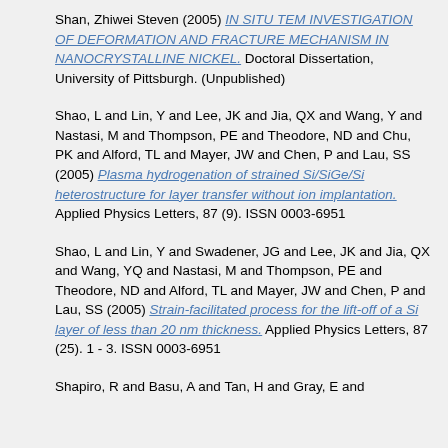Shan, Zhiwei Steven (2005) IN SITU TEM INVESTIGATION OF DEFORMATION AND FRACTURE MECHANISM IN NANOCRYSTALLINE NICKEL. Doctoral Dissertation, University of Pittsburgh. (Unpublished)
Shao, L and Lin, Y and Lee, JK and Jia, QX and Wang, Y and Nastasi, M and Thompson, PE and Theodore, ND and Chu, PK and Alford, TL and Mayer, JW and Chen, P and Lau, SS (2005) Plasma hydrogenation of strained Si/SiGe/Si heterostructure for layer transfer without ion implantation. Applied Physics Letters, 87 (9). ISSN 0003-6951
Shao, L and Lin, Y and Swadener, JG and Lee, JK and Jia, QX and Wang, YQ and Nastasi, M and Thompson, PE and Theodore, ND and Alford, TL and Mayer, JW and Chen, P and Lau, SS (2005) Strain-facilitated process for the lift-off of a Si layer of less than 20 nm thickness. Applied Physics Letters, 87 (25). 1 - 3. ISSN 0003-6951
Shapiro, R and Basu, A and Tan, H and Gray, E and